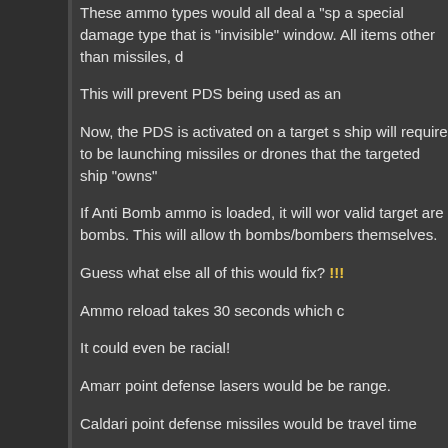These ammo types would all deal a "sp a special damage type that is "invisible" window. All items other than missiles, d
This will prevent PDS being used as an
Now, the PDS is activated on a target s ship will require to be launching missiles or drones that the targeted ship "owns"
If Anti Bomb ammo is loaded, it will wor valid target are bombs. This will allow th bombs/bombers themselves.
Guess what else all of this would fix? !!!
Ammo reload takes 30 seconds which c
It could even be racial!
Amarr point defense lasers would be be range.
Caldari point defense missiles would be travel time